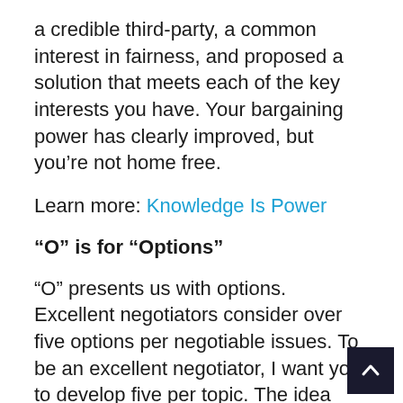a credible third-party, a common interest in fairness, and proposed a solution that meets each of the key interests you have. Your bargaining power has clearly improved, but you’re not home free.
Learn more: Knowledge Is Power
“O” is for “Options”
“O” presents us with options. Excellent negotiators consider over five options per negotiable issues. To be an excellent negotiator, I want you to develop five per topic. The idea here is simply to brainstorm then, later, you can group your ideas into categories.